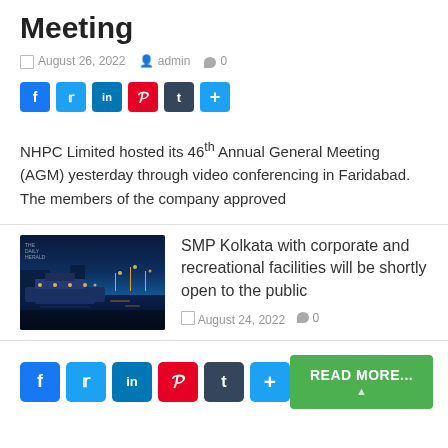Meeting
August 26, 2022  admin  0
[Figure (other): Social media share buttons: Facebook, Twitter, LinkedIn, Pinterest, Tumblr, More]
NHPC Limited hosted its 46th Annual General Meeting (AGM) yesterday through video conferencing in Faridabad. The members of the company approved
[Figure (photo): Night photo of a waterfront/harbor scene with illuminated buildings and water reflections in Kolkata]
SMP Kolkata with corporate and recreational facilities will be shortly open to the public
August 24, 2022  0
[Figure (other): Social media share buttons large: Facebook, Twitter, LinkedIn, Pinterest, Tumblr, More]
READ MORE...